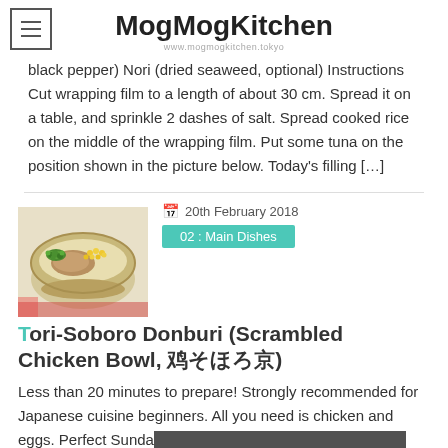MogMogKitchen
www.mogmogkitchen.tokyo
black pepper) Nori (dried seaweed, optional) Instructions Cut wrapping film to a length of about 30 cm. Spread it on a table, and sprinkle 2 dashes of salt. Spread cooked rice on the middle of the wrapping film. Put some tuna on the position shown in the picture below. Today's filling [...]
20th February 2018
02 : Main Dishes
Tori-Soboro Donburi (Scrambled Chicken Bowl, 鳥そぼろ丼)
Less than 20 minutes to prepare! Strongly recommended for Japanese cuisine beginners. All you need is chicken and eggs. Perfect Sunday's colourful lunch and a Bento's good friend! Looks so
[Figure (photo): Photo of a bowl containing tori-soboro donburi — scrambled chicken with green edamame and corn over rice]